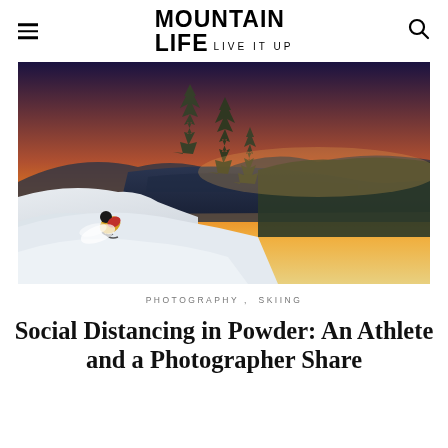MOUNTAIN LIFE LIVE IT UP
[Figure (photo): A skier in a yellow jacket carving deep powder on a steep mountain slope with snow-covered trees, a lake, and a dramatic orange and purple sunset sky in the background. Large mountain landscape visible below.]
PHOTOGRAPHY , SKIING
Social Distancing in Powder: An Athlete and a Photographer Share